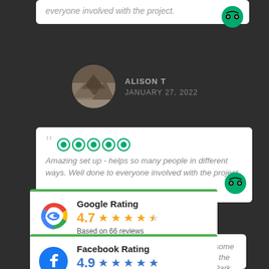everyone involved with the project.
[Figure (logo): TripAdvisor owl logo in green circle]
ALISON T
JANUARY 27, 2022
[Figure (photo): Circular profile photo of mountain landscape]
Amazing set up - helps so many people in different ways. Well done to everyone involved with the project.
[Figure (logo): TripAdvisor owl logo in green circle]
Google Rating
4.7
Based on 66 reviews
[Figure (logo): Google G logo]
Facebook Rating
4.9
Based on 82 reviews
[Figure (logo): Facebook F logo]
ving been in the area for some years I was astonished at the transformation of Hardie Park. It has become